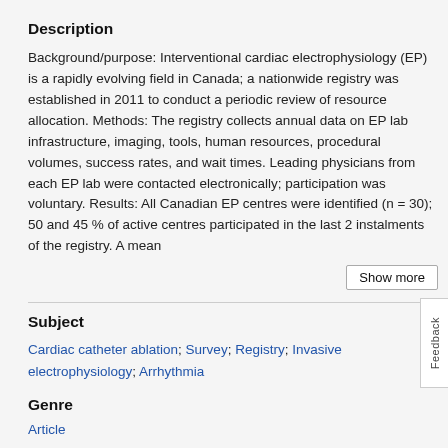Description
Background/purpose: Interventional cardiac electrophysiology (EP) is a rapidly evolving field in Canada; a nationwide registry was established in 2011 to conduct a periodic review of resource allocation. Methods: The registry collects annual data on EP lab infrastructure, imaging, tools, human resources, procedural volumes, success rates, and wait times. Leading physicians from each EP lab were contacted electronically; participation was voluntary. Results: All Canadian EP centres were identified (n = 30); 50 and 45 % of active centres participated in the last 2 instalments of the registry. A mean
Show more
Subject
Cardiac catheter ablation; Survey; Registry; Invasive electrophysiology; Arrhythmia
Genre
Article
Type